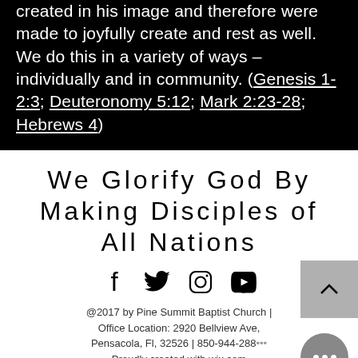created in his image and therefore were made to joyfully create and rest as well. We do this in a variety of ways – individually and in community. (Genesis 1-2:3; Deuteronomy 5:12; Mark 2:23-28; Hebrews 4)
We Glorify God By Making Disciples of All Nations
[Figure (other): Social media icons: Facebook, Twitter, Instagram, YouTube]
@2017 by Pine Summit Baptist Church | Office Location: 2920 Bellview Ave, Pensacola, Fl, 32526 | 850-944-288... Proudly created with wix.com